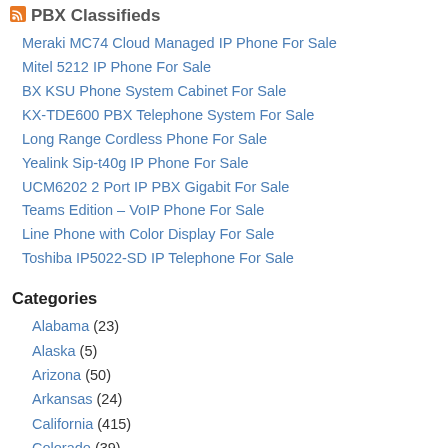PBX Classifieds
Meraki MC74 Cloud Managed IP Phone For Sale
Mitel 5212 IP Phone For Sale
BX KSU Phone System Cabinet For Sale
KX-TDE600 PBX Telephone System For Sale
Long Range Cordless Phone For Sale
Yealink Sip-t40g IP Phone For Sale
UCM6202 2 Port IP PBX Gigabit For Sale
Teams Edition – VoIP Phone For Sale
Line Phone with Color Display For Sale
Toshiba IP5022-SD IP Telephone For Sale
Categories
Alabama (23)
Alaska (5)
Arizona (50)
Arkansas (24)
California (415)
Colorado (39)